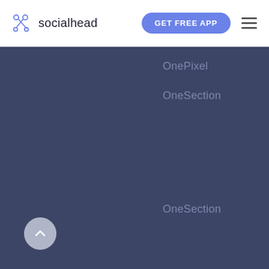[Figure (logo): Socialhead logo: scissors icon in blue with 'socialhead' text next to it]
GET FREE APP
OnePixel
OneSection
OneSection
[Figure (other): Back to top arrow button, circular grey button with upward chevron arrow]